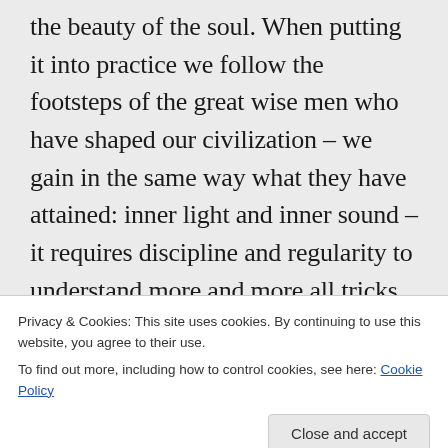the beauty of the soul. When putting it into practice we follow the footsteps of the great wise men who have shaped our civilization – we gain in the same way what they have attained: inner light and inner sound – it requires discipline and regularity to understand more and more all tricks of our own mind – when we think we know ourselves, then we can be sure that we do not know us, everything is practical matter but we cannot get such treasures in a
Privacy & Cookies: This site uses cookies. By continuing to use this website, you agree to their use.
To find out more, including how to control cookies, see here: Cookie Policy
Close and accept
So, my dear friend, do not be disappointed